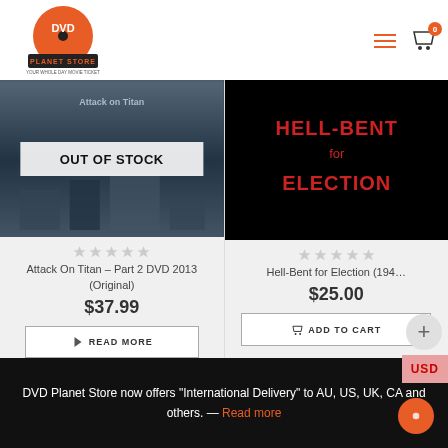[Figure (logo): DVD Planet Store logo — orange disc with DVD text and planet store branding]
[Figure (screenshot): Attack On Titan Part 2 DVD product image with OUT OF STOCK overlay]
OUT OF STOCK
Attack On Titan – Part 2 DVD 2013 (Original)
$37.99
READ MORE
[Figure (photo): Hell-Bent for Election movie cover — red text on black background]
Hell-Bent for Election (194...
$25.00
ADD TO CART
USD
DVD Planet Store now offers "International Delivery" to AU, US, UK, CA and others. — Read more